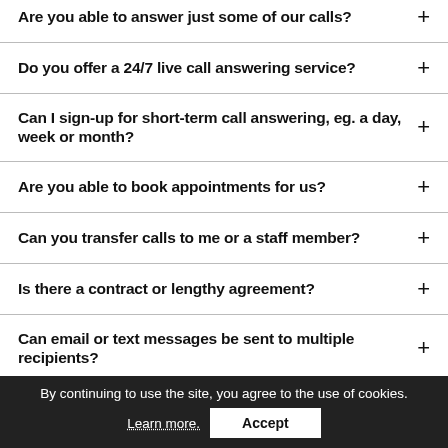Are you able to answer just some of our calls?
Do you offer a 24/7 live call answering service?
Can I sign-up for short-term call answering, eg. a day, week or month?
Are you able to book appointments for us?
Can you transfer calls to me or a staff member?
Is there a contract or lengthy agreement?
Can email or text messages be sent to multiple recipients?
By continuing to use the site, you agree to the use of cookies. Learn more. Accept